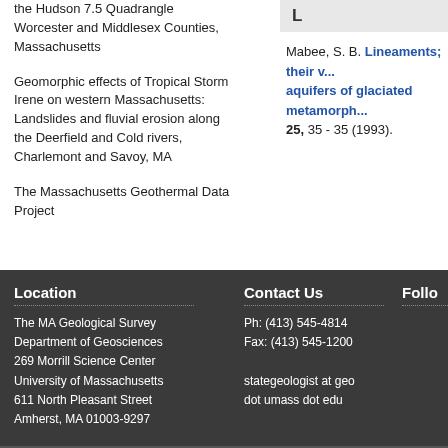the Hudson 7.5 Quadrangle Worcester and Middlesex Counties, Massachusetts
Geomorphic effects of Tropical Storm Irene on western Massachusetts: Landslides and fluvial erosion along the Deerfield and Cold rivers, Charlemont and Savoy, MA
The Massachusetts Geothermal Data Project
L
Mabee, S. B. Lineaments; their value in characterizing aquifers of glaciated metamorphic terrain. 25, 35 - 35 (1993).
Location
The MA Geological Survey
Department of Geosciences
269 Morrill Science Center
University of Massachusetts
611 North Pleasant Street
Amherst, MA 01003-9297
Contact Us
Ph: (413) 545-4814
Fax: (413) 545-1200

stategeologist at geo dot umass dot edu
Follo